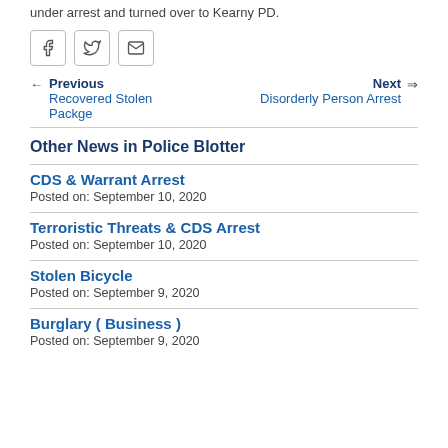under arrest and turned over to Kearny PD.
[social share icons: Facebook, Twitter, Email]
← Previous
Recovered Stolen Packge
Next →
Disorderly Person Arrest
Other News in Police Blotter
CDS & Warrant Arrest
Posted on: September 10, 2020
Terroristic Threats & CDS Arrest
Posted on: September 10, 2020
Stolen Bicycle
Posted on: September 9, 2020
Burglary ( Business )
Posted on: September 9, 2020